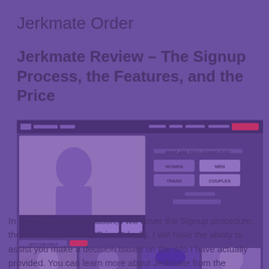Jerkmate Order
Jerkmate Review – The Signup Process, the Features, and the Price
[Figure (screenshot): Screenshot of Jerkmate website showing a video chat interface with a woman, and a signup panel asking 'WHAT ARE YOU LOOKING FOR?' with options: WOMEN, MEN, TRANS, COUPLES. Below are thumbnail images of performers.]
In this Jerkmate evaluation, I will cover the Signup procedure, the Features, and the Price. Ideally, I will have the ability to assist you make a decision based on the info I have actually provided. You can learn more about Jerkmate from the